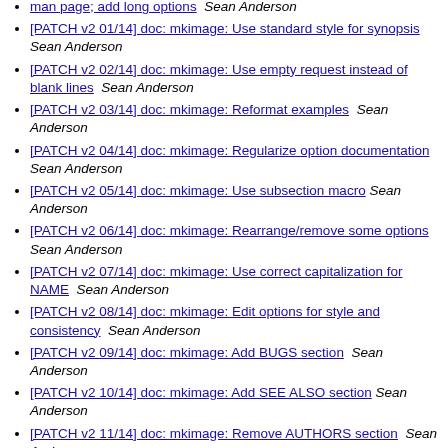[PATCH v2 ...] doc: mkimage: ... man page; add long options  Sean Anderson
[PATCH v2 01/14] doc: mkimage: Use standard style for synopsis  Sean Anderson
[PATCH v2 02/14] doc: mkimage: Use empty request instead of blank lines  Sean Anderson
[PATCH v2 03/14] doc: mkimage: Reformat examples  Sean Anderson
[PATCH v2 04/14] doc: mkimage: Regularize option documentation  Sean Anderson
[PATCH v2 05/14] doc: mkimage: Use subsection macro  Sean Anderson
[PATCH v2 06/14] doc: mkimage: Rearrange/remove some options  Sean Anderson
[PATCH v2 07/14] doc: mkimage: Use correct capitalization for NAME  Sean Anderson
[PATCH v2 08/14] doc: mkimage: Edit options for style and consistency  Sean Anderson
[PATCH v2 09/14] doc: mkimage: Add BUGS section  Sean Anderson
[PATCH v2 10/14] doc: mkimage: Add SEE ALSO section  Sean Anderson
[PATCH v2 11/14] doc: mkimage: Remove AUTHORS section  Sean Anderson
[PATCH v2 12/14] mkimage: Add long options  Sean Anderson